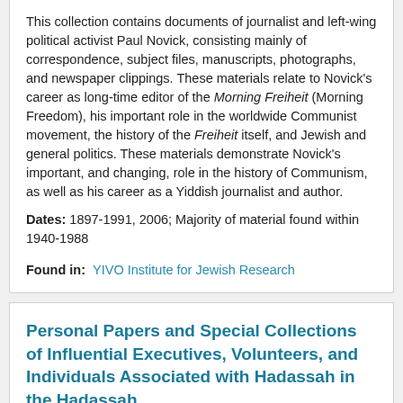This collection contains documents of journalist and left-wing political activist Paul Novick, consisting mainly of correspondence, subject files, manuscripts, photographs, and newspaper clippings. These materials relate to Novick's career as long-time editor of the Morning Freiheit (Morning Freedom), his important role in the worldwide Communist movement, the history of the Freiheit itself, and Jewish and general politics. These materials demonstrate Novick's important, and changing, role in the history of Communism, as well as his career as a Yiddish journalist and author.
Dates: 1897-1991, 2006; Majority of material found within 1940-1988
Found in: YIVO Institute for Jewish Research
Personal Papers and Special Collections of Influential Executives, Volunteers, and Individuals Associated with Hadassah in the Hadassah Archives